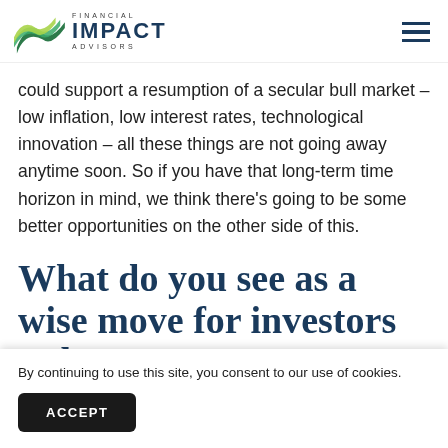Financial Impact Advisors
could support a resumption of a secular bull market – low inflation, low interest rates, technological innovation – all these things are not going away anytime soon. So if you have that long-term time horizon in mind, we think there's going to be some better opportunities on the other side of this.
What do you see as a wise move for investors today
By continuing to use this site, you consent to our use of cookies.